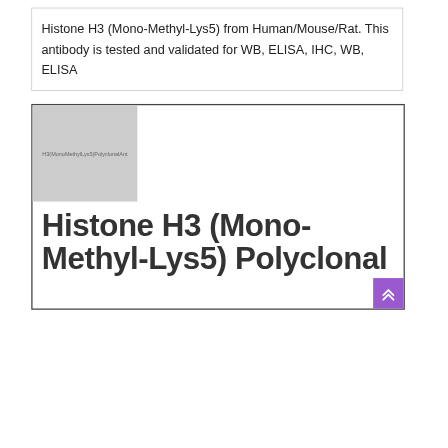Histone H3 (Mono-Methyl-Lys5) from Human/Mouse/Rat. This antibody is tested and validated for WB, ELISA, IHC, WB, ELISA
[Figure (photo): Placeholder product image thumbnail for Histone H3 (Mono-Methyl-Lys5) Polyclonal Antibody with gray background and small label text]
Histone H3 (Mono-Methyl-Lys5) Polyclonal Antibody